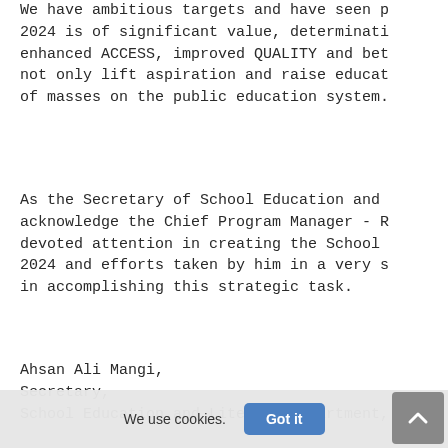We have ambitious targets and have seen p 2024 is of significant value, determinati enhanced ACCESS, improved QUALITY and bet not only lift aspiration and raise educat of masses on the public education system.
As the Secretary of School Education and acknowledge the Chief Program Manager - R devoted attention in creating the School 2024 and efforts taken by him in a very s in accomplishing this strategic task.
Ahsan Ali Mangi,
Secretary,
School Education and Literacy Department,